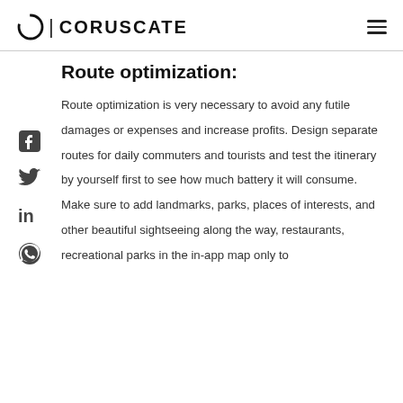CORUSCATE
Route optimization:
Route optimization is very necessary to avoid any futile damages or expenses and increase profits. Design separate routes for daily commuters and tourists and test the itinerary by yourself first to see how much battery it will consume. Make sure to add landmarks, parks, places of interests, and other beautiful sightseeing along the way, restaurants, recreational parks in the in-app map only to